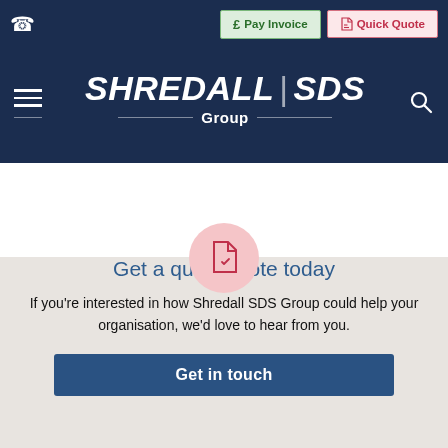£ Pay Invoice | Quick Quote
[Figure (logo): Shredall SDS Group logo with hamburger menu and search icon on dark navy background]
[Figure (illustration): Pink circle with red document/quote icon]
Get a quick quote today
If you're interested in how Shredall SDS Group could help your organisation, we'd love to hear from you.
Get in touch